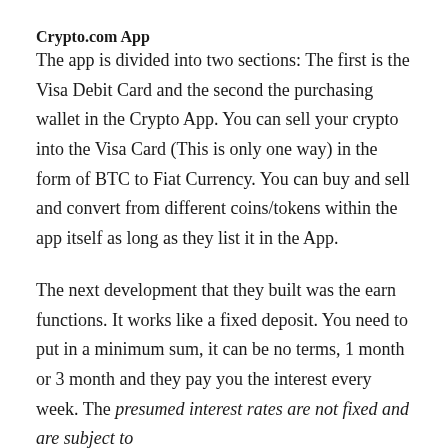Crypto.com App
The app is divided into two sections: The first is the Visa Debit Card and the second the purchasing wallet in the Crypto App. You can sell your crypto into the Visa Card (This is only one way) in the form of BTC to Fiat Currency. You can buy and sell and convert from different coins/tokens within the app itself as long as they list it in the App.
The next development that they built was the earn functions. It works like a fixed deposit. You need to put in a minimum sum, it can be no terms, 1 month or 3 month and they pay you the interest every week. The presumed interest rates are not fixed and are subject to